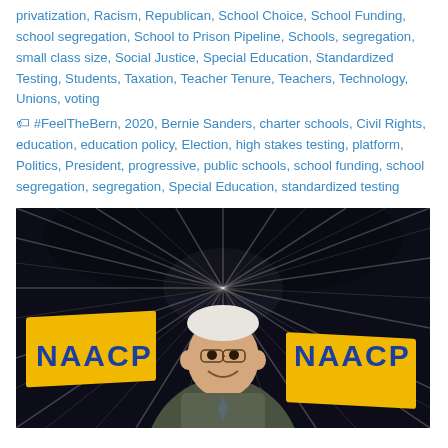privatization, Racism, Republican, School Choice, School Funding, school segregation, School to Prison Pipeline, Schools, segregation, small class size, Social Justice, Special Education, Standardized Testing, Students, Taxation, Teacher Tenure, Teachers, Technology, Unions, voting
#FeelTheBern, 2020, Bernie Sanders, charter schools, Civil Rights, education, education policy, Election, high stakes testing, platform, Politics, President, progressive, public schools, school funding, school segregation, segregation, Special Education, standardized testing
[Figure (photo): Photo of Bernie Sanders smiling at an NAACP event, standing in front of yellow NAACP banners, with a dramatic radial light burst effect in the background tunnel.]